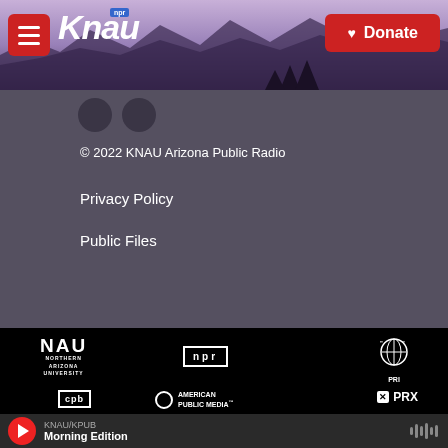[Figure (logo): KNAU NPR public radio website header with hamburger menu, KNAU logo, and red Donate button over a purple mountain landscape background]
© 2022 KNAU Arizona Public Radio
Privacy Policy
Public Files
[Figure (logo): NAU Northern Arizona University logo in white on black]
[Figure (logo): NPR logo in white box on black]
[Figure (logo): PRI logo with globe icon on black]
[Figure (logo): CPB corporation for public broadcasting logo on black]
[Figure (logo): American Public Media logo with circle icon on black]
[Figure (logo): PRX logo on black]
KNAU/KPUB  Morning Edition